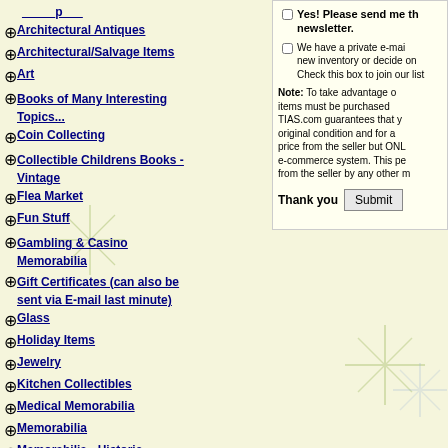Architectural Antiques
Architectural/Salvage Items
Art
Books of Many Interesting Topics...
Coin Collecting
Collectible Childrens Books - Vintage
Flea Market
Fun Stuff
Gambling & Casino Memorabilia
Gift Certificates (can also be sent via E-mail last minute)
Glass
Holiday Items
Jewelry
Kitchen Collectibles
Medical Memorabilia
Memorabilia
Memorabilia - Historic
Memorabilia - Movies
Memorabilia - Musical
Memorabilia - Sports
Yes! Please send me the newsletter.
We have a private e-mail list for new inventory or decide on... Check this box to join our list.
Note: To take advantage of... items must be purchased... TIAS.com guarantees that you... original condition and for a... price from the seller but ONL... e-commerce system. This pe... from the seller by any other m...
Thank you